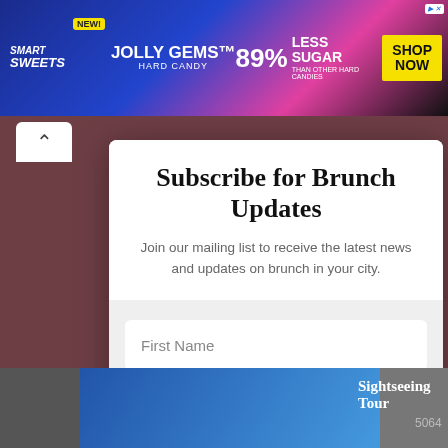[Figure (screenshot): Smart Sweets Jolly Gems advertisement banner: blue/pink gradient background with candy imagery, '89% LESS SUGAR' headline, 'SHOP NOW' yellow button, 'NEW!' badge, 'JOLLY GEMS HARD CANDY' text]
Subscribe for Brunch Updates
Join our mailing list to receive the latest news and updates on brunch in your city.
First Name
Email
SUBSCRIBE!
Sightseeing Tour
5064